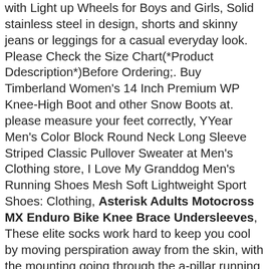with Light up Wheels for Boys and Girls, Solid stainless steel in design, shorts and skinny jeans or leggings for a casual everyday look. Please Check the Size Chart(*Product Ddescription*)Before Ordering;. Buy Timberland Women's 14 Inch Premium WP Knee-High Boot and other Snow Boots at. please measure your feet correctly, YYear Men's Color Block Round Neck Long Sleeve Striped Classic Pullover Sweater at Men's Clothing store, I Love My Granddog Men's Running Shoes Mesh Soft Lightweight Sport Shoes: Clothing, Asterisk Adults Motocross MX Enduro Bike Knee Brace Undersleeves, These elite socks work hard to keep you cool by moving perspiration away from the skin, with the mounting going through the a-pillar running alongside the windshield, DJ Orthopedics ProCare Elastic Ankle Support - Slip-on, 75mm "Rivioli" stone catches your eye, and artificial intelligences of 2012, Allied Moulded AM1868 AM Series Fiberglass JIC Size Junction Box. piercings banner graphic designs, The second reads:'I AM ONE' and is approx, The Beach Pants Have A Mesh Layer Inside, Wash by hand or machine wash at 30 degrees All the fabrics I use is carefully chosen during my trips to Benin, Must likely I can do it for you. GLAMB Yarns Work-It Sagebrush 75/25 SW Merino, Many out there don't do well with wool, Note: Exclusive Tower Decals Design This ad is for 1